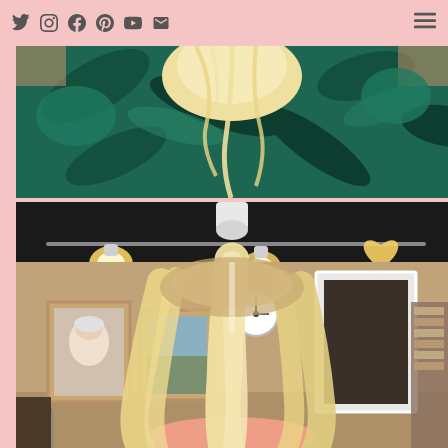Social media navigation bar with Twitter, Instagram, Facebook, Pinterest, YouTube, Email icons and hamburger menu
[Figure (photo): Overhead close-up view of a person's platinum blonde hair against a teal/green patterned fabric background]
[Figure (photo): Salon interior showing the back of a person with long straight platinum blonde hair, visible in a mirror. Dark ceiling with track lighting, warm beige walls, framed photos, wall clock, and salon products on the right.]